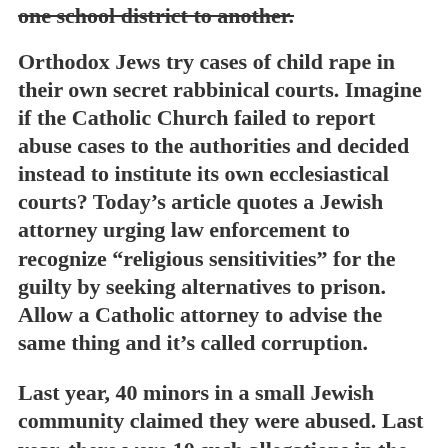one school district to another.
Orthodox Jews try cases of child rape in their own secret rabbinical courts. Imagine if the Catholic Church failed to report abuse cases to the authorities and decided instead to institute its own ecclesiastical courts? Today’s article quotes a Jewish attorney urging law enforcement to recognize “religious sensitivities” for the guilty by seeking alternatives to prison. Allow a Catholic attorney to advise the same thing and it’s called corruption.
Last year, 40 minors in a small Jewish community claimed they were abused. Last year, there were 10 such allegations in the entire Catholic Church in all 50 states. Catholics are fed up with the duplicity. It’s not just Roman